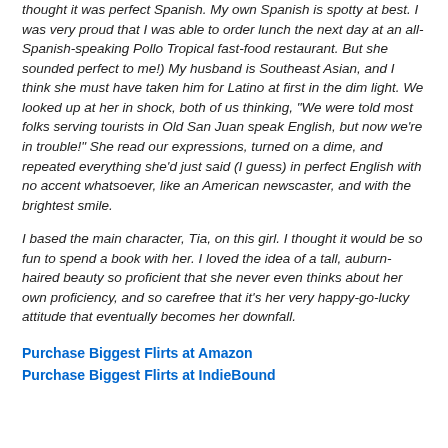thought it was perfect Spanish. My own Spanish is spotty at best. I was very proud that I was able to order lunch the next day at an all-Spanish-speaking Pollo Tropical fast-food restaurant. But she sounded perfect to me!) My husband is Southeast Asian, and I think she must have taken him for Latino at first in the dim light. We looked up at her in shock, both of us thinking, "We were told most folks serving tourists in Old San Juan speak English, but now we're in trouble!" She read our expressions, turned on a dime, and repeated everything she'd just said (I guess) in perfect English with no accent whatsoever, like an American newscaster, and with the brightest smile.
I based the main character, Tia, on this girl. I thought it would be so fun to spend a book with her. I loved the idea of a tall, auburn-haired beauty so proficient that she never even thinks about her own proficiency, and so carefree that it's her very happy-go-lucky attitude that eventually becomes her downfall.
Purchase Biggest Flirts at Amazon
Purchase Biggest Flirts at IndieBound